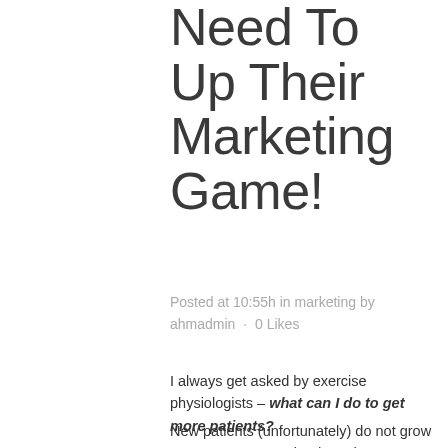Need To Up Their Marketing Game!
Posted at 10:55h in marketing by ahmadmin · 0 Likes
I always get asked by exercise physiologists – what can I do to get more patients?
New patients (unfortunately) do not grow on trees. BUT new leads and new referrals can grow with a little